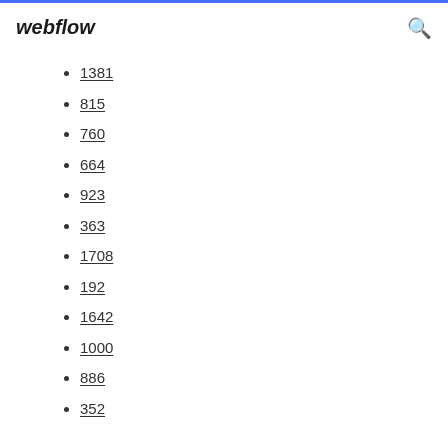webflow
1381
815
760
664
923
363
1708
192
1642
1000
886
352